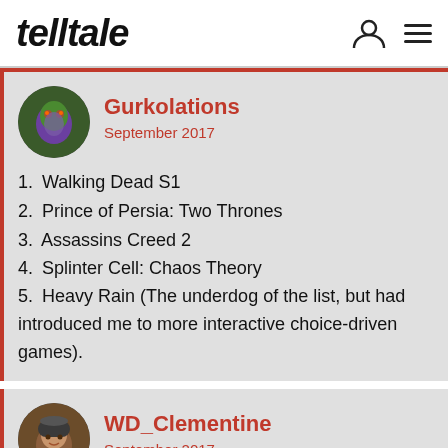telltale
Gurkolations
September 2017
1. Walking Dead S1
2. Prince of Persia: Two Thrones
3. Assassins Creed 2
4. Splinter Cell: Chaos Theory
5. Heavy Rain (The underdog of the list, but had introduced me to more interactive choice-driven games).
WD_Clementine
September 2017
1. Banner saga 1&2.